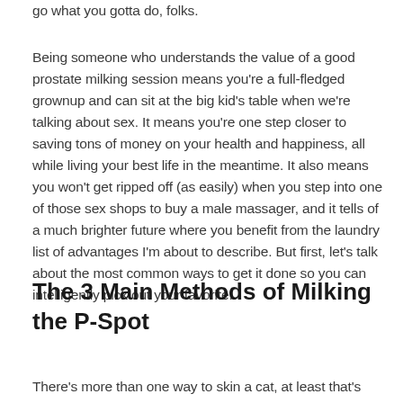go what you gotta do, folks.
Being someone who understands the value of a good prostate milking session means you're a full-fledged grownup and can sit at the big kid's table when we're talking about sex. It means you're one step closer to saving tons of money on your health and happiness, all while living your best life in the meantime. It also means you won't get ripped off (as easily) when you step into one of those sex shops to buy a male massager, and it tells of a much brighter future where you benefit from the laundry list of advantages I'm about to describe. But first, let's talk about the most common ways to get it done so you can intelligently pick out your favorite.
The 3 Main Methods of Milking the P-Spot
There's more than one way to skin a cat, at least that's what